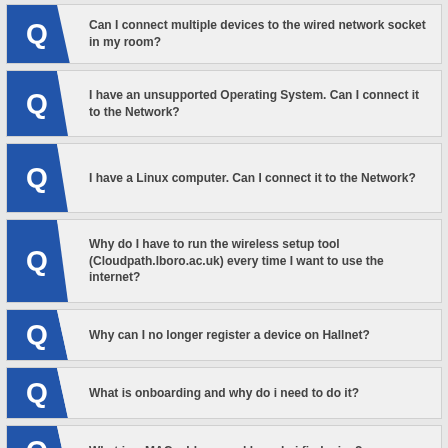Can I connect multiple devices to the wired network socket in my room?
I have an unsupported Operating System. Can I connect it to the Network?
I have a Linux computer. Can I connect it to the Network?
Why do I have to run the wireless setup tool (Cloudpath.lboro.ac.uk) every time I want to use the internet?
Why can I no longer register a device on Hallnet?
What is onboarding and why do i need to do it?
What is a MAC address and how do i find mine?